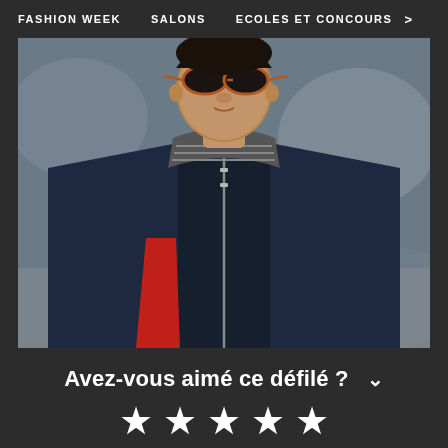FASHION WEEK   SALONS   ECOLES ET CONCOURS  >
[Figure (photo): Male fashion model wearing sunglasses, dark navy quilted jacket with red lining and striped turtleneck underneath, walking on a runway with blurred background]
Avez-vous aimé ce défilé ?
★ ★ ★ ★ ★